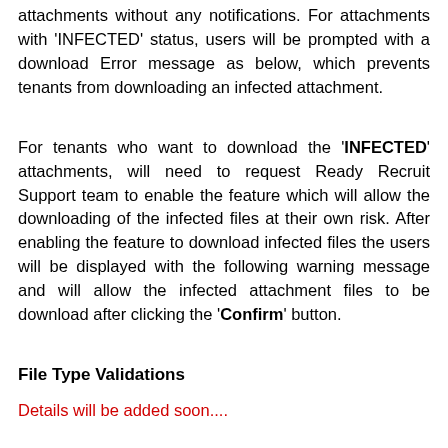attachments without any notifications. For attachments with 'INFECTED' status, users will be prompted with a download Error message as below, which prevents tenants from downloading an infected attachment.
For tenants who want to download the 'INFECTED' attachments, will need to request Ready Recruit Support team to enable the feature which will allow the downloading of the infected files at their own risk. After enabling the feature to download infected files the users will be displayed with the following warning message and will allow the infected attachment files to be download after clicking the 'Confirm' button.
File Type Validations
Details will be added soon....